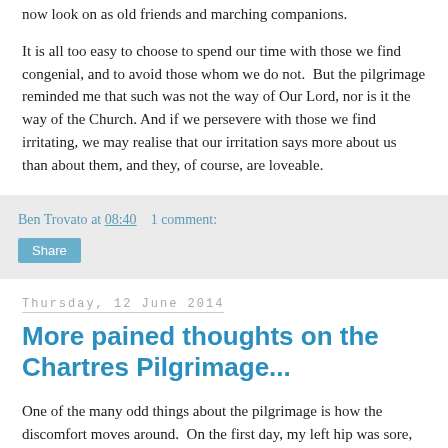now look on as old friends and marching companions.
It is all too easy to choose to spend our time with those we find congenial, and to avoid those whom we do not.  But the pilgrimage reminded me that such was not the way of Our Lord, nor is it the way of the Church. And if we persevere with those we find irritating, we may realise that our irritation says more about us than about them, and they, of course, are loveable.
Ben Trovato at 08:40    1 comment:
Share
Thursday, 12 June 2014
More pained thoughts on the Chartres Pilgrimage...
One of the many odd things about the pilgrimage is how the discomfort moves around.  On the first day, my left hip was sore, and got gradually worse during the day, and over night.